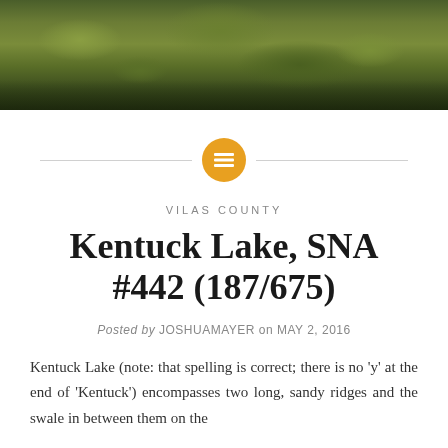[Figure (photo): Aerial or close-up photo of green grassy wetland / bog vegetation with dense sedge or grass tufts, dark green and yellow-green tones]
VILAS COUNTY
Kentuck Lake, SNA #442 (187/675)
Posted by JOSHUAMAYER on MAY 2, 2016
Kentuck Lake (note: that spelling is correct; there is no 'y' at the end of 'Kentuck') encompasses two long, sandy ridges and the swale in between them on the